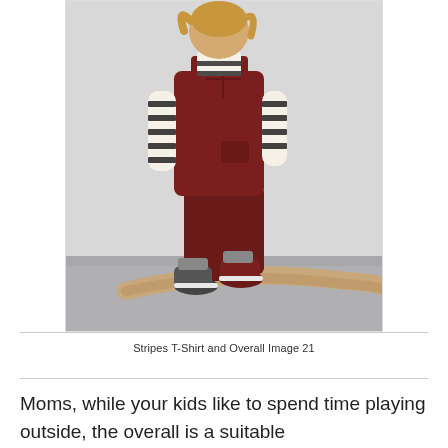[Figure (photo): Child viewed from behind wearing a dark burgundy/maroon overall/dungarees over a black and white horizontal striped long-sleeve shirt, with dark sneakers, walking outdoors against a light grey wall with a curved wooden branch on the ground.]
Stripes T-Shirt and Overall Image 21
Moms, while your kids like to spend time playing outside, the overall is a suitable